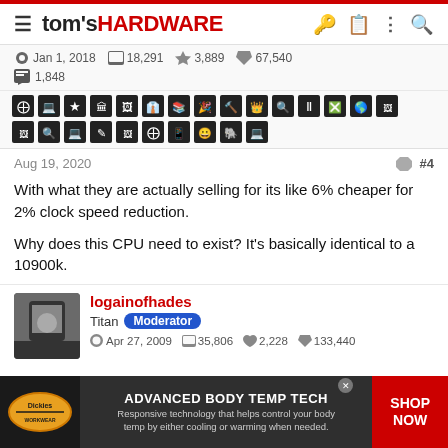tom's HARDWARE
Jan 1, 2018  18,291  3,889  67,540  1,848
[Figure (other): User achievement badge icons rows]
Aug 19, 2020  #4
With what they are actually selling for its like 6% cheaper for 2% clock speed reduction.

Why does this CPU need to exist? It's basically identical to a 10900k.
logainofhades
Titan  Moderator
Apr 27, 2009  35,806  2,228  133,440
[Figure (other): Dickies Advanced Body Temp Tech advertisement banner]